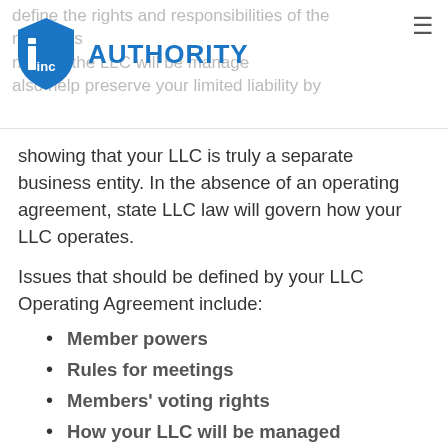inc AUTHORITY — define the rights and responsibilities of the members, how the LLC will be managed, also help preserve your limited liability by
showing that your LLC is truly a separate business entity. In the absence of an operating agreement, state LLC law will govern how your LLC operates.
Issues that should be defined by your LLC Operating Agreement include:
Member powers
Rules for meetings
Members' voting rights
How your LLC will be managed
Guidelines for losses and profits
Buyout provisions